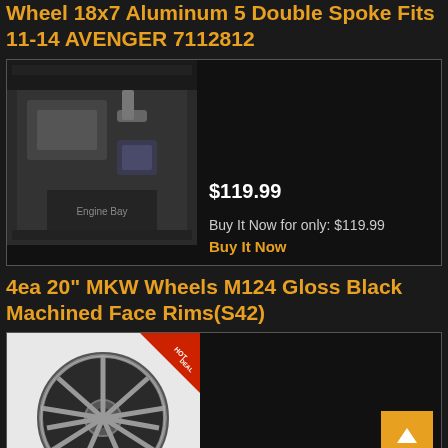Wheel 18x7 Aluminum 5 Double Spoke Fits 11-14 AVENGER 7112812
[Figure (photo): Photo of a car engine bay, dark background]
$119.99
Buy It Now for only: $119.99
Buy It Now
4ea 20" MKW Wheels M124 Gloss Black Machined Face Rims(S42)
[Figure (photo): Photo of a black machined face MKW wheel rim with HOT DEAL badge]
$1,152.00